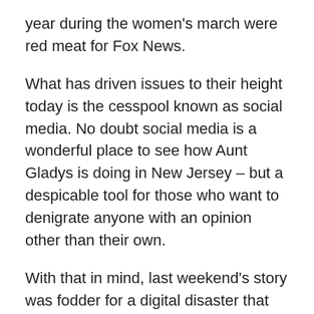year during the women's march were red meat for Fox News.
What has driven issues to their height today is the cesspool known as social media. No doubt social media is a wonderful place to see how Aunt Gladys is doing in New Jersey – but a despicable tool for those who want to denigrate anyone with an opinion other than their own.
With that in mind, last weekend's story was fodder for a digital disaster that would gain global coverage beyond anything I had ever witnessed concerning teenagers. Moreover, in doing so, it pointed to the power of words and images, digitally captured, edited and distributed across Twitter,